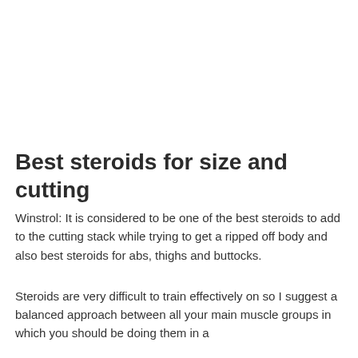Best steroids for size and cutting
Winstrol: It is considered to be one of the best steroids to add to the cutting stack while trying to get a ripped off body and also best steroids for abs, thighs and buttocks.
Steroids are very difficult to train effectively on so I suggest a balanced approach between all your main muscle groups in which you should be doing them in a